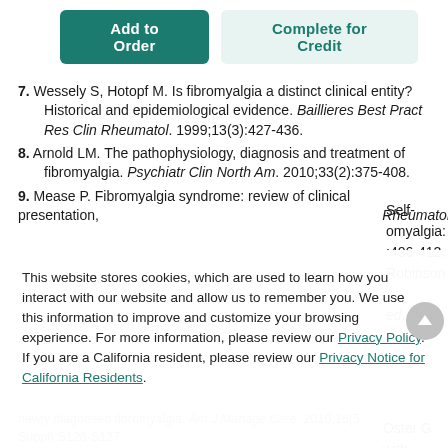[Figure (screenshot): UI buttons: 'Add to Order' (teal filled) and 'Complete for Credit' (light teal)]
7. Wessely S, Hotopf M. Is fibromyalgia a distinct clinical entity? Historical and epidemiological evidence. Baillieres Best Pract Res Clin Rheumatol. 1999;13(3):427-436.
8. Arnold LM. The pathophysiology, diagnosis and treatment of fibromyalgia. Psychiatr Clin North Am. 2010;33(2):375-408.
9. Mease P. Fibromyalgia syndrome: review of clinical presentation, [Rheumatol partial]
This website stores cookies, which are used to learn how you interact with our website and allow us to remember you. We use this information to improve and customize your browsing experience. For more information, please review our Privacy Policy. If you are a California resident, please review our Privacy Notice for California Residents.
Self-omyalgia: :406-412. Robinson /, ed.
Oster G. with 2010;16(5
newly diagnosed fibromyalgia. Am J Manage Care. 2010;16(5 Suppl):S126-S127.